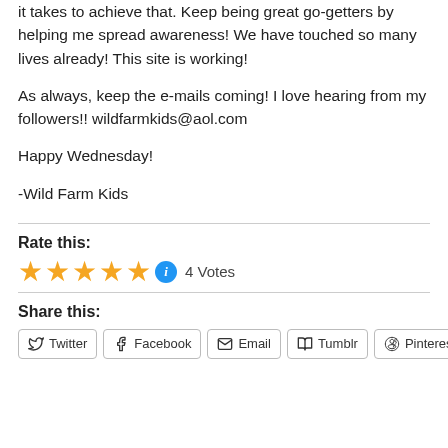it takes to achieve that. Keep being great go-getters by helping me spread awareness! We have touched so many lives already! This site is working!
As always, keep the e-mails coming! I love hearing from my followers!! wildfarmkids@aol.com
Happy Wednesday!
-Wild Farm Kids
Rate this:
4 Votes
Share this:
Twitter  Facebook  Email  Tumblr  Pinterest